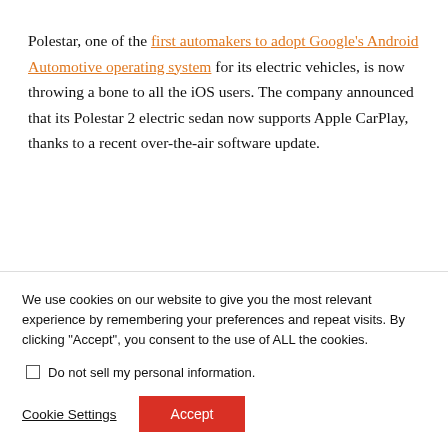Polestar, one of the first automakers to adopt Google's Android Automotive operating system for its electric vehicles, is now throwing a bone to all the iOS users. The company announced that its Polestar 2 electric sedan now supports Apple CarPlay, thanks to a recent over-the-air software update.
People who own both a Polestar 2 and an iPhone will
We use cookies on our website to give you the most relevant experience by remembering your preferences and repeat visits. By clicking "Accept", you consent to the use of ALL the cookies.
Do not sell my personal information.
Cookie Settings  Accept